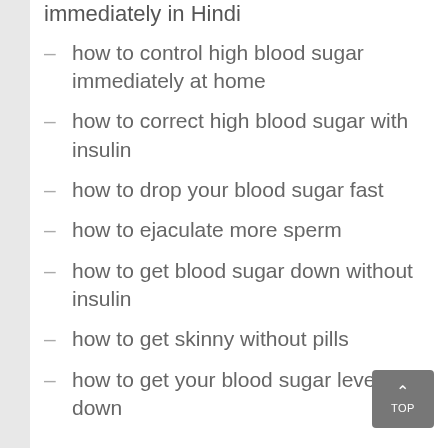immediately in Hindi
how to control high blood sugar immediately at home
how to correct high blood sugar with insulin
how to drop your blood sugar fast
how to ejaculate more sperm
how to get blood sugar down without insulin
how to get skinny without pills
how to get your blood sugar levels down